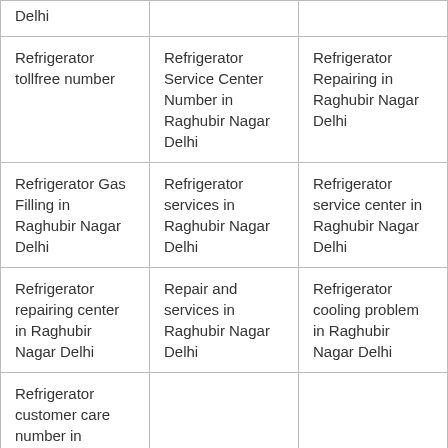| Delhi |  |  |
| Refrigerator tollfree number | Refrigerator Service Center Number in Raghubir Nagar Delhi | Refrigerator Repairing in Raghubir Nagar Delhi |
| Refrigerator Gas Filling in Raghubir Nagar Delhi | Refrigerator services in Raghubir Nagar Delhi | Refrigerator service center in Raghubir Nagar Delhi |
| Refrigerator repairing center in Raghubir Nagar Delhi | Repair and services in Raghubir Nagar Delhi | Refrigerator cooling problem in Raghubir Nagar Delhi |
| Refrigerator customer care number in Raghubir Nagar Delhi |  |  |